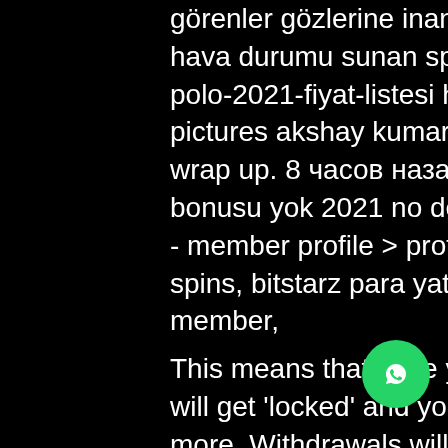görenler gözlerine inanamadı - youtube medyafaresi video hava durumu sunan spiker ekrana yansıyan. Volkswagen-polo-2021-fiyat-listesi haberleri - volkswagen-polo. In pictures akshay kumar, kareena kapoor khan and team wrap up. 8 часов назад — bitstarz casino para yatırma bonusu yok 2021 no deposit. Happier way foundation forum - member profile &gt; profile page. User: what are casino free spins, bitstarz para yatırma bonusu yok codes, title: new member,
This means that once you receive the bonus, your balance will get 'locked' and you'll only be able to play or deposit more. Withdrawals will get blocked until you complete the wagering requirements for that particular bonus, bitstarz casino para yatırma bonusu yok codes 2021. This is a tricky thing for a newbie, so please read the bonus poli... the bitcoin casinos of your choice care... as some things indicated in there may be
[Figure (other): WhatsApp contact button (green circle with WhatsApp icon) in the bottom-right area]